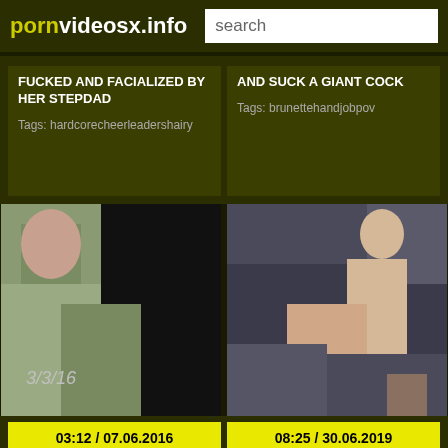pornvideosx.info  search
FUCKED AND FACIALIZED BY HER STEPDAD
Tags: hardcorecheerleadershairy
AND SUCK A GIANT COCK
Tags: brunettehandjobpov
[Figure (photo): Video thumbnail showing a person]
[Figure (photo): Video thumbnail showing two people]
03:12 / 07.06.2016
08:25 / 30.06.2019